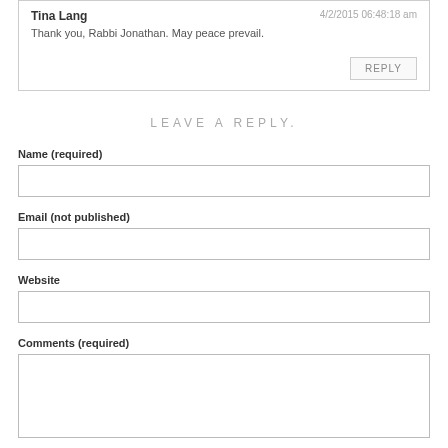Tina Lang — 4/2/2015 06:48:18 am
Thank you, Rabbi Jonathan. May peace prevail.
LEAVE A REPLY.
Name (required)
Email (not published)
Website
Comments (required)